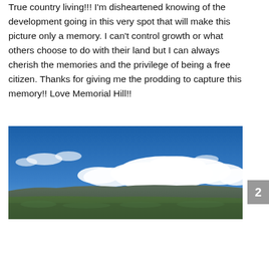True country living!!! I'm disheartened knowing of the development going in this very spot that will make this picture only a memory. I can't control growth or what others choose to do with their land but I can always cherish the memories and the privilege of being a free citizen. Thanks for giving me the prodding to capture this memory!! Love Memorial Hill!!
[Figure (photo): Panoramic landscape photo showing a wide valley with green fields and scattered trees in the foreground, a long ridge of mountains or hills in the middle distance, and a brilliant blue sky with large white cumulus clouds filling the upper portion of the image.]